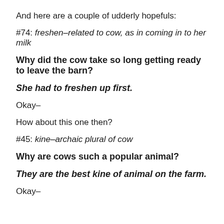And here are a couple of udderly hopefuls:
#74: freshen–related to cow, as in coming in to her milk
Why did the cow take so long getting ready to leave the barn?
She had to freshen up first.
Okay–
How about this one then?
#45: kine–archaic plural of cow
Why are cows such a popular animal?
They are the best kine of animal on the farm.
Okay–